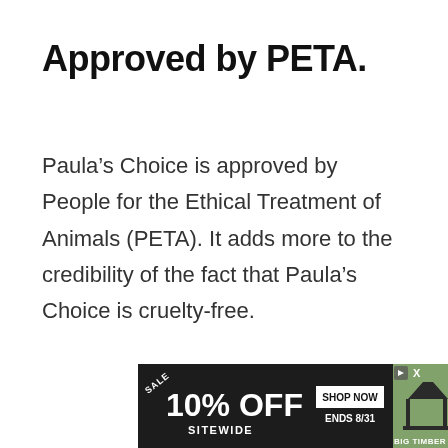Approved by PETA.
Paula’s Choice is approved by People for the Ethical Treatment of Animals (PETA). It adds more to the credibility of the fact that Paula’s Choice is cruelty-free.
[Figure (infographic): Advertisement banner: dark background with 'SALE 10% OFF SITEWIDE' text on left, 'SHOP NOW ENDS 8/31' button in middle, and photo of wooden gazebo structure on right with 'BIG TIMBER' branding. Play and close buttons in top-right corner.]